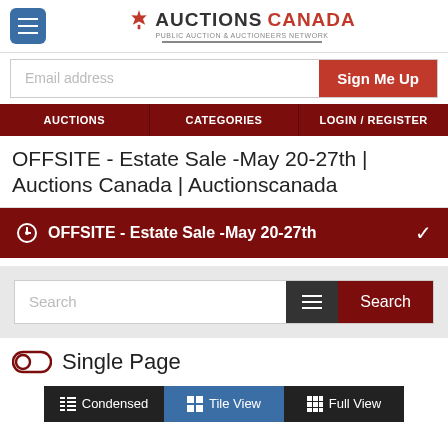[Figure (logo): Auctions Canada logo with maple leaf icon, text AUCTIONS in dark and CANADA in red, with subtitle PUBLIC AUCTION & AUCTIONEERS NETWORK]
Email address
Sign Me Up
AUCTIONS | CATEGORIES | LOGIN/REGISTER
OFFSITE - Estate Sale -May 20-27th | Auctions Canada | Auctionscanada
OFFSITE - Estate Sale -May 20-27th
Search
Single Page
Condensed   Tile View   Full View